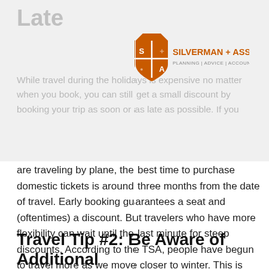Late
[Figure (logo): Silverman + Associates logo with shield icon. Text: SILVERMAN + ASSOCIATES / PLANNING | ADVICE | ACCOUNTABILITY]
While travel during the holidays is expensive no matter when you book, you can still get a small discount by booking your trip as soon or as late as possible. If you are traveling by plane, the best time to purchase domestic tickets is around three months from the date of travel. Early booking guarantees a seat and (oftentimes) a discount. But travelers who have more flexibility can wait until the last minute for steep discounts. According to the TSA, people have begun to travel more as we move closer to winter. This is compared to a decrease of around two million in travelers since April, compared to last year.¹
Travel Tip #2: Be Aware of Additional